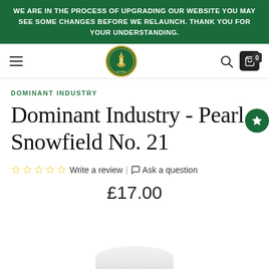WE ARE IN THE PROCESS OF UPGRADING OUR WEBSITE YOU MAY SEE SOME CHANGES BEFORE WE RELAUNCH. THANK YOU FOR YOUR UNDERSTANDING.
[Figure (logo): Store logo — circular badge with lighthouse/oil lamp icon, green and gold colors]
DOMINANT INDUSTRY
Dominant Industry - Pearl - Snowfield No. 21
☆☆☆☆☆ Write a review | Ask a question
£17.00